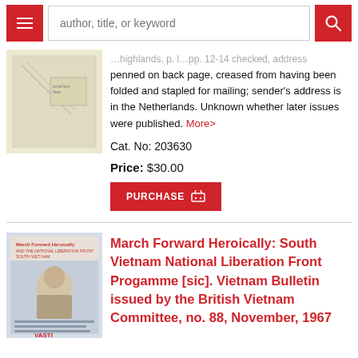author, title, or keyword
penned on back page, creased from having been folded and stapled for mailing; sender's address is in the Netherlands. Unknown whether later issues were published. More>
Cat. No: 203630
Price: $30.00
PURCHASE
March Forward Heroically: South Vietnam National Liberation Front Progamme [sic]. Vietnam Bulletin issued by the British Vietnam Committee, no. 88, November, 1967